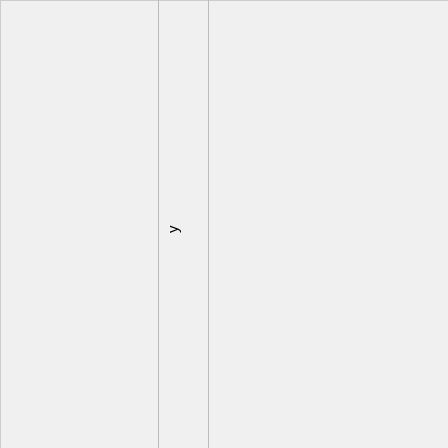|  | UCAR/NCAR-EarthObservingL... | final completed |
| --- | --- | --- |
| BRIC | UCAR/NCAR-EarthObservingL... | final completed |